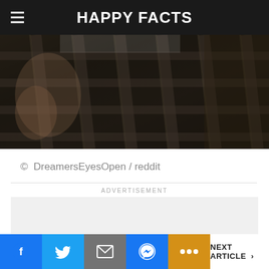HAPPY FACTS
[Figure (photo): Close-up photo of a person lying down wearing dark plaid/checkered pajama or lounge pants, with a hand visible, dark muted tones]
© DreamersEyesOpen / reddit
ADVERTISEMENT
[Figure (other): Advertisement placeholder box (empty gray rectangle with close/X button)]
NEXT ARTICLE >